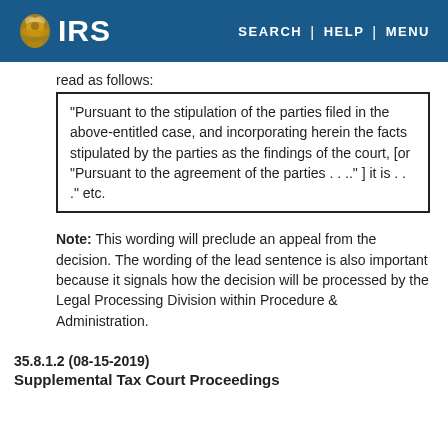IRS | SEARCH | HELP | MENU
read as follows:
"Pursuant to the stipulation of the parties filed in the above-entitled case, and incorporating herein the facts stipulated by the parties as the findings of the court, [or "Pursuant to the agreement of the parties . . ." ] it is . . ." etc.
Note: This wording will preclude an appeal from the decision. The wording of the lead sentence is also important because it signals how the decision will be processed by the Legal Processing Division within Procedure & Administration.
35.8.1.2 (08-15-2019)
Supplemental Tax Court Proceedings